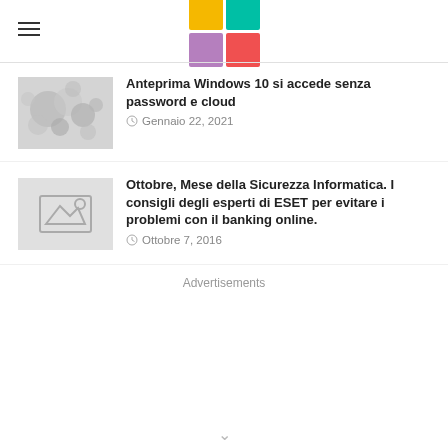Logo grid header with hamburger menu
Anteprima Windows 10 si accede senza password e cloud — Gennaio 22, 2021
Ottobre, Mese della Sicurezza Informatica. I consigli degli esperti di ESET per evitare i problemi con il banking online. — Ottobre 7, 2016
Advertisements